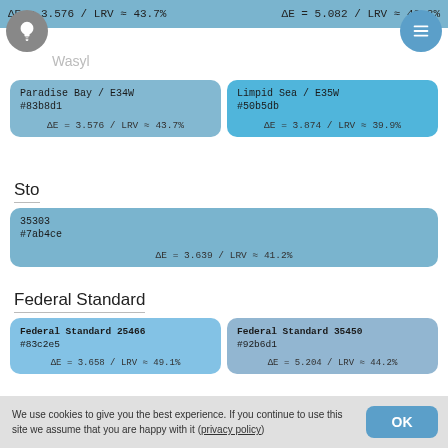ΔE = 3.576 / LRV ≈ 43.7%  |  ΔE = 5.082 / LRV ≈ 49.3%
Wasyl
| Paradise Bay / E34W
#83b8d1
ΔE = 3.576 / LRV ≈ 43.7% | Limpid Sea / E35W
#50b5db
ΔE = 3.874 / LRV ≈ 39.9% |
Sto
| 35303
#7ab4ce
ΔE = 3.639 / LRV ≈ 41.2% |
Federal Standard
| Federal Standard 25466
#83c2e5
ΔE = 3.658 / LRV ≈ 49.1% | Federal Standard 35450
#92b6d1
ΔE = 5.204 / LRV ≈ 44.2% |
Cloverdale Paint
We use cookies to give you the best experience. If you continue to use this site we assume that you are happy with it (privacy policy)